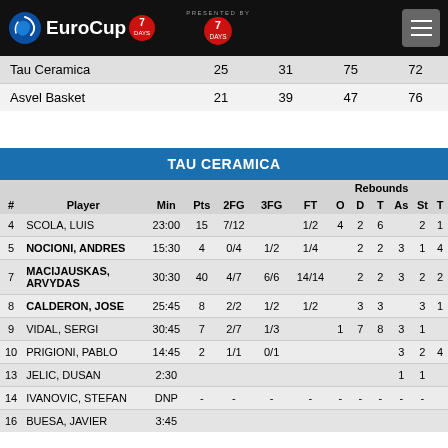EuroCup 7DAYS
| Team | Q1 | Q2 | Q3 | Q4 |
| --- | --- | --- | --- | --- |
| Tau Ceramica | 25 | 31 | 75 | 72 |
| Asvel Basket | 21 | 39 | 47 | 76 |
TAU CERAMICA
| # | Player | Min | Pts | 2FG | 3FG | FT | O | D | T | As | St | T |
| --- | --- | --- | --- | --- | --- | --- | --- | --- | --- | --- | --- | --- |
| 4 | SCOLA, LUIS | 23:00 | 15 | 7/12 |  | 1/2 | 4 | 2 | 6 |  | 2 | 1 |
| 5 | NOCIONI, ANDRES | 15:30 | 4 | 0/4 | 1/2 | 1/4 |  | 2 | 2 | 3 | 1 | 4 |
| 7 | MACIJAUSKAS, ARVYDAS | 30:30 | 40 | 4/7 | 6/6 | 14/14 |  | 2 | 2 | 3 | 2 | 2 |
| 8 | CALDERON, JOSE | 25:45 | 8 | 2/2 | 1/2 | 1/2 |  | 3 | 3 |  | 3 | 1 |
| 9 | VIDAL, SERGI | 30:45 | 7 | 2/7 | 1/3 |  | 1 | 7 | 8 | 3 | 1 |  |
| 10 | PRIGIONI, PABLO | 14:45 | 2 | 1/1 | 0/1 |  |  |  |  | 3 | 2 | 4 |
| 13 | JELIC, DUSAN | 2:30 |  |  |  |  |  |  |  | 1 | 1 |  |
| 14 | IVANOVIC, STEFAN | DNP | - | - | - | - | - | - | - | - | - |
| 16 | BUESA, JAVIER | 3:45 |  |  |  |  |  |  |  |  |  |  |